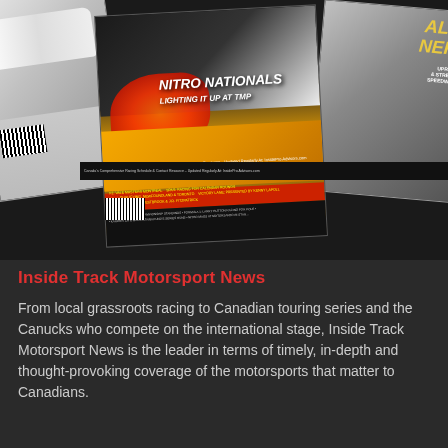[Figure (photo): Composite of multiple motorsport magazine covers fanned out, including 'Nitro Nationals Lighting It Up At TMP' as the main cover, arranged on a dark background]
Inside Track Motorsport News
From local grassroots racing to Canadian touring series and the Canucks who compete on the international stage, Inside Track Motorsport News is the leader in terms of timely, in-depth and thought-provoking coverage of the motorsports that matter to Canadians.